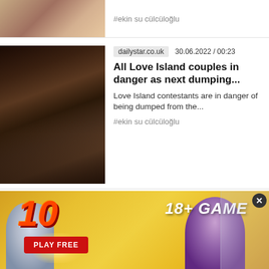[Figure (photo): Partial view of two people at top of page]
#ekin su cülcüloğlu
[Figure (photo): Two people sitting close together, Love Island contestants]
dailystar.co.uk   30.06.2022 / 00:23
All Love Island couples in danger as next dumping...
Love Island contestants are in danger of being dumped from the...
#ekin su cülcüloğlu
[Figure (photo): Young woman with dark hair looking to the side, Love Island star Afia Tonkmor]
dailystar.co.uk   29.06.2022 / 23:09
Axed Love Island star hasn't watched show since brutal exit...
Love Island star Afia Tonkmor has admitted she's not watched the ITV...
#paige thorne #ikenna ekw...a
[Figure (illustration): 18+ Game advertisement overlay with anime characters, PLAY FREE button, number 10]